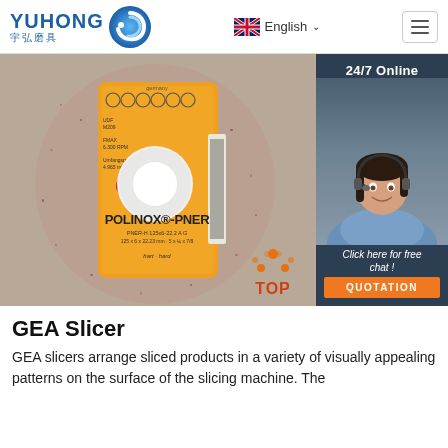YUHONG 宇弘磨具 | English
[Figure (photo): Grinding wheel product photo showing a POLINOX-PNER abrasive wheel with orange center label. Label reads: POLINOX-PNER, PNER-H 125x6-22.2 A G, 125 x 6 x 22.23 mm · 5 x 1/4 x 7/8, hart · hard. Red H grade marker visible. Safety icons shown at top of label. Barcode visible on right side. Abrasive material texture visible on wheel body.]
[Figure (photo): Customer service representative woman wearing headset, smiling. Overlaid on dark navy blue panel showing 24/7 Online text, Click here for free chat! text in italic, and orange QUOTATION button.]
[Figure (illustration): TOP navigation icon — orange dots arranged in triangle/arch shape above bold red-orange text reading TOP]
GEA Slicer
GEA slicers arrange sliced products in a variety of visually appealing patterns on the surface of the slicing machine. The